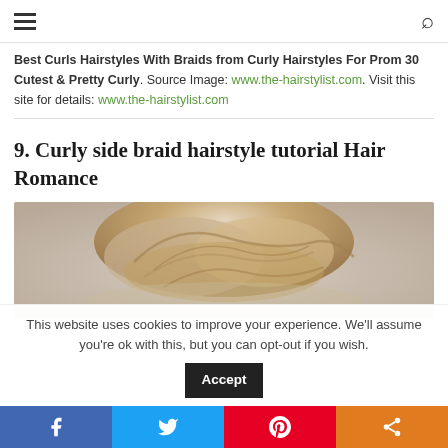Navigation header with hamburger menu and search icon
Best Curls Hairstyles With Braids from Curly Hairstyles For Prom 30 Cutest & Pretty Curly. Source Image: www.the-hairstylist.com. Visit this site for details: www.the-hairstylist.com
9. Curly side braid hairstyle tutorial Hair Romance
[Figure (photo): A photo of a person's head showing curly braided hair from behind, against a light gray background]
This website uses cookies to improve your experience. We'll assume you're ok with this, but you can opt-out if you wish.
Social share buttons: Facebook, Twitter, Pinterest, Share